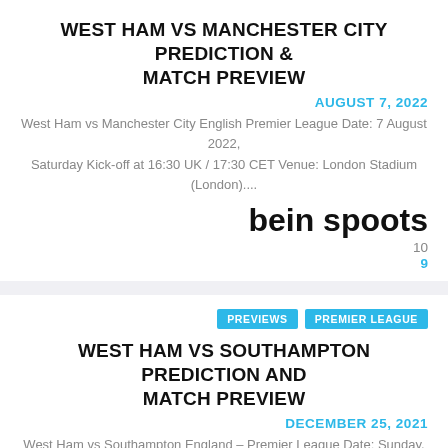WEST HAM VS MANCHESTER CITY PREDICTION & MATCH PREVIEW
AUGUST 7, 2022
West Ham vs Manchester City English Premier League Date: 7 August 2022, Saturday Kick-off at 16:30 UK / 17:30 CET Venue: London Stadium (London)....
bein spoots
10
9
PREVIEWS
PREMIER LEAGUE
WEST HAM VS SOUTHAMPTON PREDICTION AND MATCH PREVIEW
DECEMBER 25, 2021
West Ham vs Southampton England – Premier League Date: Sunday, 26